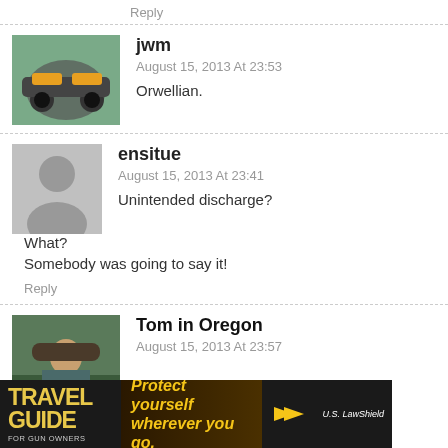Reply
[Figure (photo): Avatar of user jwm showing a motorcycle]
jwm
August 15, 2013 At 23:53
Orwellian.
[Figure (illustration): Default grey silhouette avatar for user ensitue]
ensitue
August 15, 2013 At 23:41
Unintended discharge?
What?
Somebody was going to say it!
Reply
[Figure (photo): Avatar of user Tom in Oregon showing a person outdoors]
Tom in Oregon
August 15, 2013 At 23:57
[Figure (infographic): Travel Guide for Gun Owners advertisement banner: Protect yourself wherever you go. U.S. LawShield]